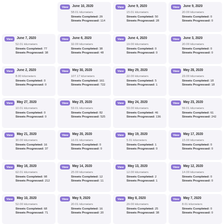June 10, 2020 | 58.01 kilometers | Streets Completed: 29 | Streets Progressed: 114
June 9, 2020 | 15.01 kilometers | Streets Completed: 50 | Streets Progressed: 28
June 9, 2020 | 20.00 kilometers | Streets Completed: 0 | Streets Progressed: 0
June 7, 2020 | 52.01 kilometers | Streets Completed: 77 | Streets Progressed: 38
June 6, 2020 | 32.00 kilometers | Streets Completed: 38 | Streets Progressed: 48
June 4, 2020 | 19.00 kilometers | Streets Completed: 0 | Streets Progressed: 0
June 3, 2020 | 20.00 kilometers | Streets Completed: 0 | Streets Progressed: 0
June 2, 2020 | 8.00 kilometers | Streets Completed: 0 | Streets Progressed: 0
May 30, 2020 | 107.17 kilometers | Streets Completed: 161 | Streets Progressed: 722
May 29, 2020 | 22.00 kilometers | Streets Completed: 5 | Streets Progressed: 1
May 28, 2020 | 23.00 kilometers | Streets Completed: 18 | Streets Progressed: 18
May 27, 2020 | 10.01 kilometers | Streets Completed: 0 | Streets Progressed: 0
May 25, 2020 | 53.01 kilometers | Streets Completed: 82 | Streets Progressed: 525
May 24, 2020 | 53.00 kilometers | Streets Completed: 46 | Streets Progressed: 136
May 23, 2020 | 59.01 kilometers | Streets Completed: 61 | Streets Progressed: 242
May 21, 2020 | 30.00 kilometers | Streets Completed: 16 | Streets Progressed: 37
May 20, 2020 | 16.01 kilometers | Streets Completed: 0 | Streets Progressed: 0
May 19, 2020 | 5.01 kilometers | Streets Completed: 1 | Streets Progressed: 0
May 17, 2020 | 15.00 kilometers | Streets Completed: 0 | Streets Progressed: 0
May 16, 2020 | 62.01 kilometers | Streets Completed: 98 | Streets Progressed: 212
May 14, 2020 | 25.00 kilometers | Streets Completed: 12 | Streets Progressed: 11
May 13, 2020 | 12.00 kilometers | Streets Completed: 2 | Streets Progressed: 1
May 12, 2020 | 14.00 kilometers | Streets Completed: 0 | Streets Progressed: 0
May 10, 2020 | 52.00 kilometers | Streets Completed: 68 | Streets Progressed: 71
May 9, 2020 | 20.01 kilometers | Streets Completed: 16 | Streets Progressed: 20
May 8, 2020 | 29.00 kilometers | Streets Completed: 25 | Streets Progressed: 38
May 7, 2020 | 8.01 kilometers | Streets Completed: 0 | Streets Progressed: 0
May 6, 2020 | 25.00 kilometers | Streets Completed: 22 | Streets Progressed: 3
May 5, 2020 | 10.01 kilometers | Streets Completed: 0 | Streets Progressed: 0
May 3, 2020 | 71.01 kilometers | Streets Completed: 33 | Streets Progressed: 155
May 2, 2020 | 10.00 kilometers | Streets Completed: 2 | Streets Progressed: 0